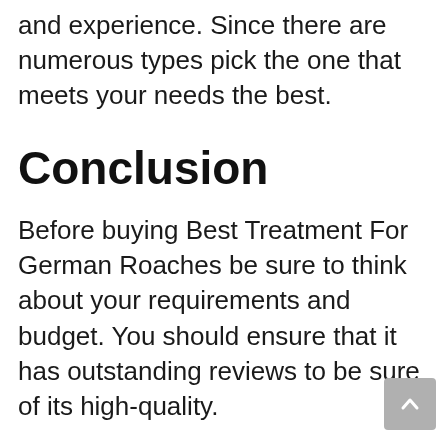and experience. Since there are numerous types pick the one that meets your needs the best.
Conclusion
Before buying Best Treatment For German Roaches be sure to think about your requirements and budget. You should ensure that it has outstanding reviews to be sure of its high-quality.
You should ensure it comes with the warranty to ensure you know that whether anything were to happen